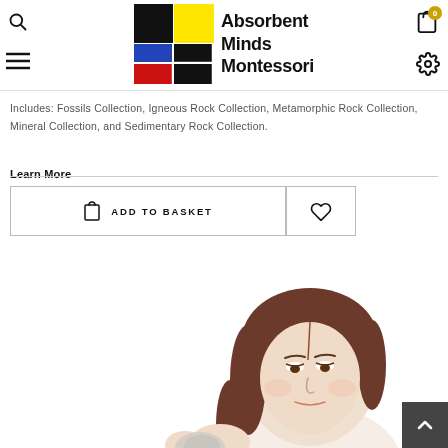Absorbent Minds Montessori
Includes: Fossils Collection, Igneous Rock Collection, Metamorphic Rock Collection, Mineral Collection, and Sedimentary Rock Collection.
Learn More
ADD TO BASKET
[Figure (photo): Young girl with brown hair looking down, holding a rock specimen, shown from shoulders up against white background]